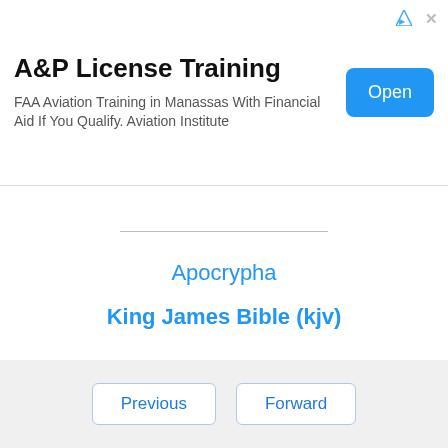[Figure (other): Advertisement banner for A&P License Training. Title: 'A&P License Training'. Body text: 'FAA Aviation Training in Manassas With Financial Aid If You Qualify. Aviation Institute'. Has an 'Open' button in blue on the right.]
Apocrypha
King James Bible (kjv)
Previous | Forward